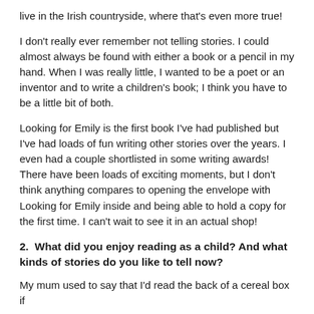live in the Irish countryside, where that's even more true!
I don't really ever remember not telling stories. I could almost always be found with either a book or a pencil in my hand. When I was really little, I wanted to be a poet or an inventor and to write a children's book; I think you have to be a little bit of both.
Looking for Emily is the first book I've had published but I've had loads of fun writing other stories over the years. I even had a couple shortlisted in some writing awards! There have been loads of exciting moments, but I don't think anything compares to opening the envelope with Looking for Emily inside and being able to hold a copy for the first time. I can't wait to see it in an actual shop!
2.  What did you enjoy reading as a child? And what kinds of stories do you like to tell now?
My mum used to say that I'd read the back of a cereal box if